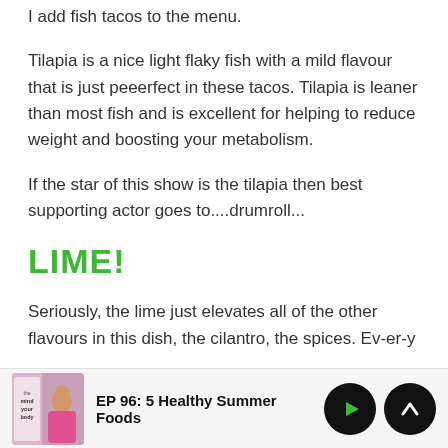I add fish tacos to the menu.
Tilapia is a nice light flaky fish with a mild flavour that is just peeerfect in these tacos. Tilapia is leaner than most fish and is excellent for helping to reduce weight and boosting your metabolism.
If the star of this show is the tilapia then best supporting actor goes to....drumroll...
LIME!
Seriously, the lime just elevates all of the other flavours in this dish, the cilantro, the spices. Ev-er-y
EP 96: 5 Healthy Summer Foods